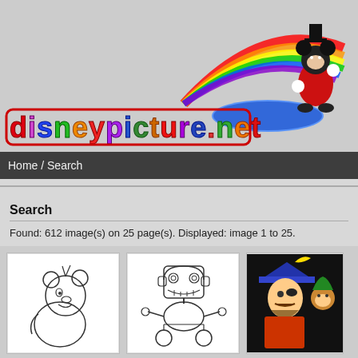[Figure (logo): Disneypicture.net website logo with colorful stylized text and Mickey Mouse character on a magic carpet]
Home / Search
Search
Found: 612 image(s) on 25 page(s). Displayed: image 1 to 25.
[Figure (illustration): Winnie the Pooh sketch/coloring page outline drawing]
[Figure (illustration): Robot/toy car character sketch coloring page outline drawing]
[Figure (illustration): Colorful Disney characters (Captain Hook and Goofy type) illustration]